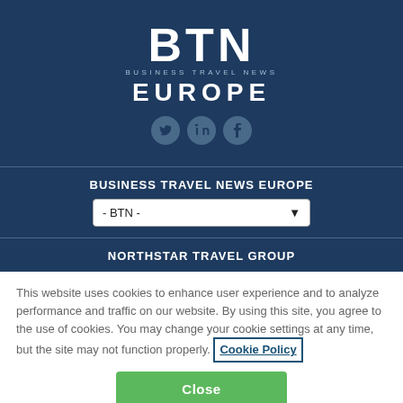[Figure (logo): BTN Business Travel News Europe logo with social media icons (Twitter, LinkedIn, Facebook) on dark blue background]
BUSINESS TRAVEL NEWS EUROPE
- BTN -
NORTHSTAR TRAVEL GROUP
This website uses cookies to enhance user experience and to analyze performance and traffic on our website. By using this site, you agree to the use of cookies. You may change your cookie settings at any time, but the site may not function properly. Cookie Policy
Close